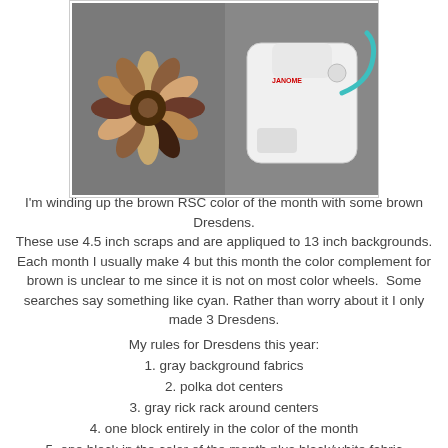[Figure (photo): Two images side by side: left shows a Dresden plate quilt block with brown/cream fabric petals and a round center; right shows a white Janome sewing machine with a teal/green cord against a gray background.]
I'm winding up the brown RSC color of the month with some brown Dresdens.
These use 4.5 inch scraps and are appliqued to 13 inch backgrounds.
Each month I usually make 4 but this month the color complement for brown is unclear to me since it is not on most color wheels.  Some searches say something like cyan. Rather than worry about it I only made 3 Dresdens.
My rules for Dresdens this year:
1. gray background fabrics
2. polka dot centers
3. gray rick rack around centers
4. one block entirely in the color of the month
5. one block in the color of the month plus black/white fabric
6. one block in the color of the month plus white/black fabric